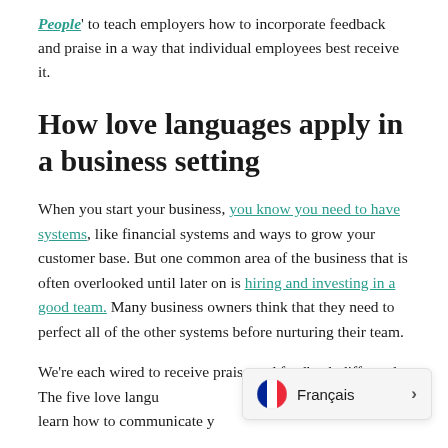'People' to teach employers how to incorporate feedback and praise in a way that individual employees best receive it.
How love languages apply in a business setting
When you start your business, you know you need to have systems, like financial systems and ways to grow your customer base. But one common area of the business that is often overlooked until later on is hiring and investing in a good team. Many business owners think that they need to perfect all of the other systems before nurturing their team.
We're each wired to receive praise and feedback differently. The five love languages learn how to communicate...
[Figure (other): Language selector popup showing a French flag icon and the text 'Français' with a right arrow chevron]